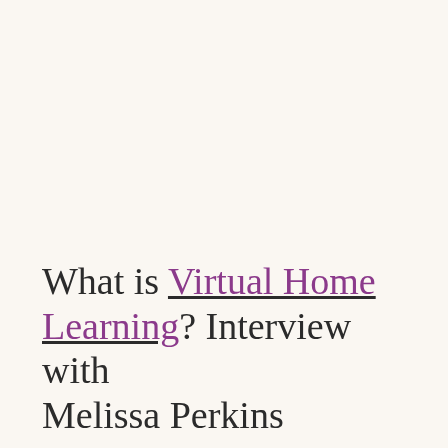What is Virtual Home Learning? Interview with Melissa Perkins